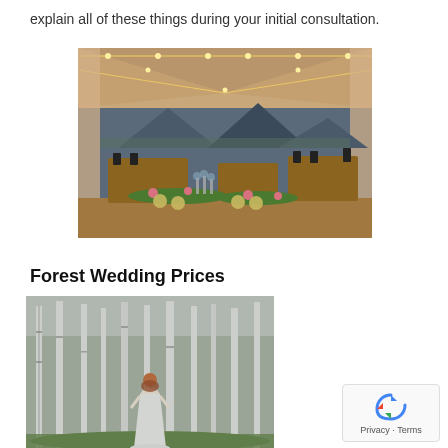explain all of these things during your initial consultation.
[Figure (photo): Indoor wedding reception tent with string lights, draped fabric walls, long banquet tables set with plates, glassware, and greenery centerpieces with pink flowers. Mountains visible in background through open tent sides.]
Forest Wedding Prices
[Figure (photo): A woman in a white wedding dress standing in a forest of tall white birch trees with green grass, viewed from a distance.]
Privacy - Terms